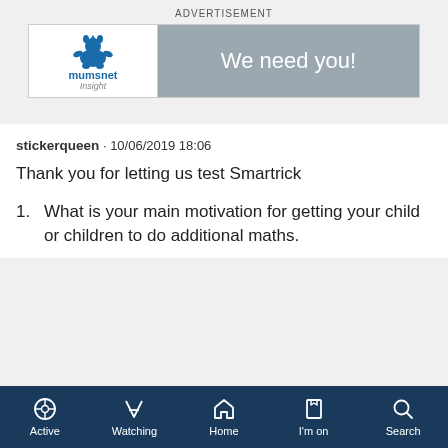ADVERTISEMENT
[Figure (screenshot): Mumsnet Insight advertisement banner with logo on left and 'We need you!' text on grey background on right]
stickerqueen · 10/06/2019 18:06
Thank you for letting us test Smartrick
1. What is your main motivation for getting your child or children to do additional maths.
Active  Watching  Home  I'm on  Search